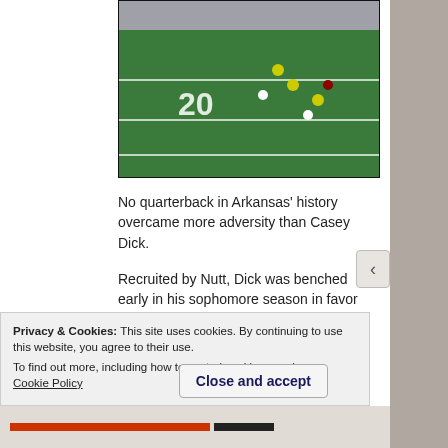[Figure (screenshot): Screenshot of a football game on a green field showing players near the 20-yard line marker]
No quarterback in Arkansas' history overcame more adversity than Casey Dick.
Recruited by Nutt, Dick was benched early in his sophomore season in favor of Arkansas Golden Boy Mitch Mustain.
Privacy & Cookies: This site uses cookies. By continuing to use this website, you agree to their use.
To find out more, including how to control cookies, see here: Cookie Policy
Close and accept